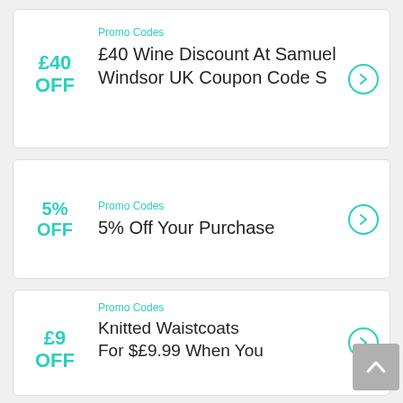Promo Codes
£40 Wine Discount At Samuel Windsor UK Coupon Code S
Promo Codes
5% Off Your Purchase
Promo Codes
Knitted Waistcoats For $£9.99 When You